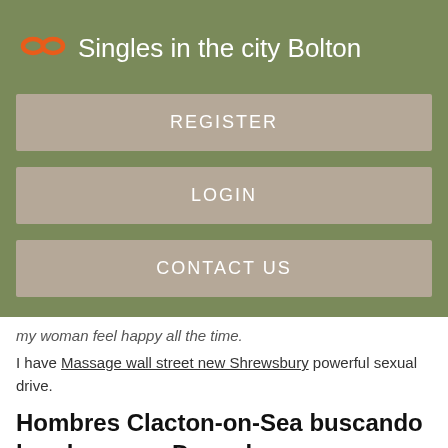Singles in the city Bolton
REGISTER
LOGIN
CONTACT US
my woman feel happy all the time.
I have Massage wall street new Shrewsbury powerful sexual drive.
Hombres Clacton-on-Sea buscando hombres gay Dagenham
NSA and very discreet. Jonathan 4 asistentes.